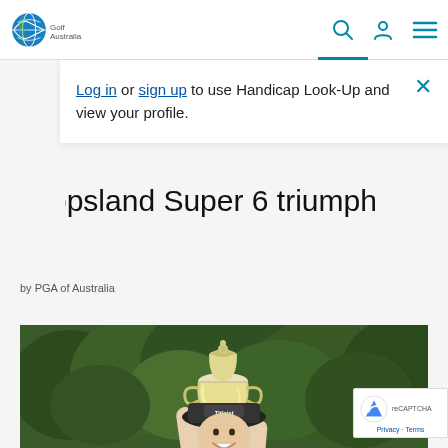Golf Australia website header with logo, search, profile, and menu icons
19 De
Th Gippsland Super 6 triumph
by PGA of Australia
Log in or sign up to use Handicap Look-Up and view your profile.
[Figure (photo): A golfer holding up a large silver trophy cup, wearing a Titleist cap, with green trees in the background.]